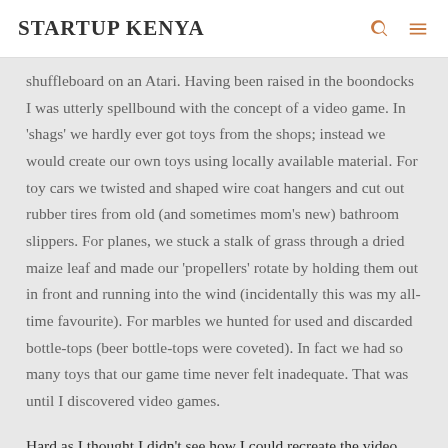STARTUP KENYA
shuffleboard on an Atari. Having been raised in the boondocks I was utterly spellbound with the concept of a video game. In 'shags' we hardly ever got toys from the shops; instead we would create our own toys using locally available material. For toy cars we twisted and shaped wire coat hangers and cut out rubber tires from old (and sometimes mom's new) bathroom slippers. For planes, we stuck a stalk of grass through a dried maize leaf and made our 'propellers' rotate by holding them out in front and running into the wind (incidentally this was my all-time favourite). For marbles we hunted for used and discarded bottle-tops (beer bottle-tops were coveted). In fact we had so many toys that our game time never felt inadequate. That was until I discovered video games.
Hard as I thought I didn't see how I could recreate the video